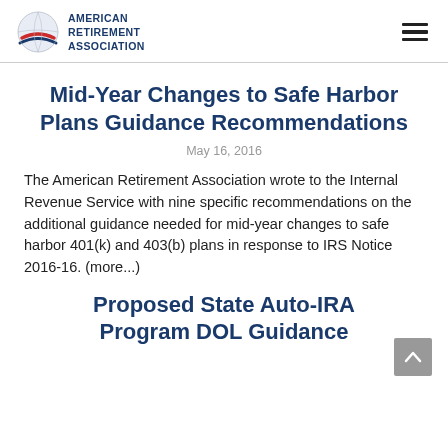AMERICAN RETIREMENT ASSOCIATION
Mid-Year Changes to Safe Harbor Plans Guidance Recommendations
May 16, 2016
The American Retirement Association wrote to the Internal Revenue Service with nine specific recommendations on the additional guidance needed for mid-year changes to safe harbor 401(k) and 403(b) plans in response to IRS Notice 2016-16. (more...)
Proposed State Auto-IRA Program DOL Guidance